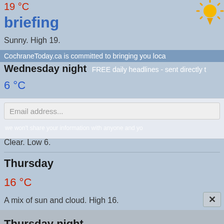19 °C
briefing
Sunny. High 19.
CochraneToday.ca is committed to bringing you loca
Wednesday night
FREE daily headlines - sent directly t
6 °C
Clear. Low 6.
we won't share your information with anyone and yo
Thursday
16 °C
A mix of sun and cloud. High 16.
Thursday night
3 °C